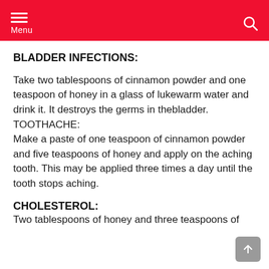Menu
BLADDER INFECTIONS:
Take two tablespoons of cinnamon powder and one teaspoon of honey in a glass of lukewarm water and drink it. It destroys the germs in thebladder.
TOOTHACHE:
Make a paste of one teaspoon of cinnamon powder and five teaspoons of honey and apply on the aching tooth. This may be applied three times a day until the tooth stops aching.
CHOLESTEROL:
Two tablespoons of honey and three teaspoons of...